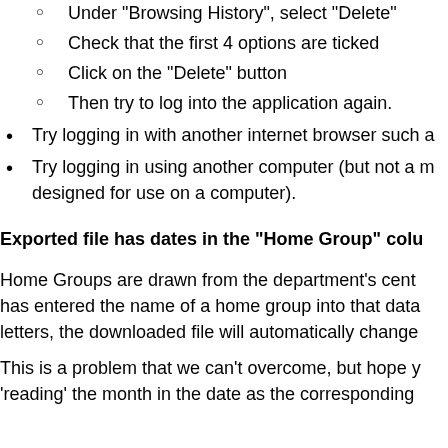Under "Browsing History", select "Delete"
Check that the first 4 options are ticked
Click on the "Delete" button
Then try to log into the application again.
Try logging in with another internet browser such a...
Try logging in using another computer (but not a m... designed for use on a computer).
Exported file has dates in the "Home Group" colu...
Home Groups are drawn from the department's cent... has entered the name of a home group into that data... letters, the downloaded file will automatically change...
This is a problem that we can't overcome, but hope y... 'reading' the month in the date as the corresponding...